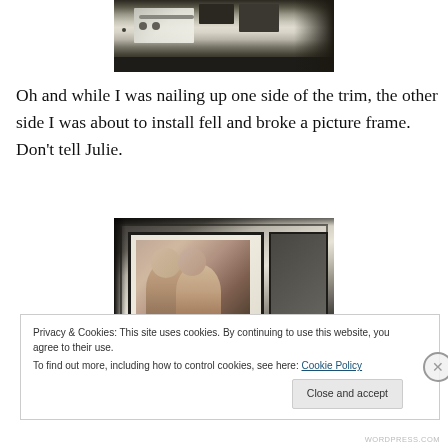[Figure (photo): Photo of electronics/stereo equipment on a shelf or surface, partially cropped at top]
Oh and while I was nailing up one side of the trim, the other side I was about to install fell and broke a picture frame. Don't tell Julie.
[Figure (photo): Photo of framed pictures hanging on a wall, showing dark picture frames with a photo of people inside]
Privacy & Cookies: This site uses cookies. By continuing to use this website, you agree to their use.
To find out more, including how to control cookies, see here: Cookie Policy
WORDPRESS.COM